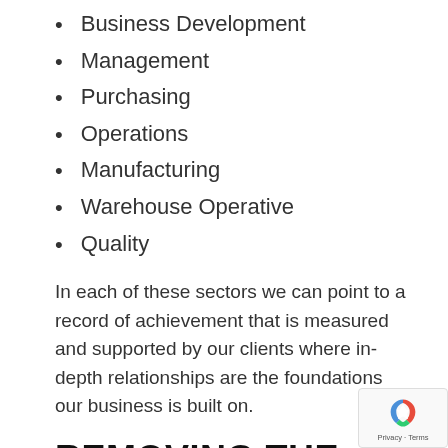Business Development
Management
Purchasing
Operations
Manufacturing
Warehouse Operative
Quality
In each of these sectors we can point to a record of achievement that is measured and supported by our clients where in-depth relationships are the foundations our business is built on.
REMOVING THE GUESSWORK